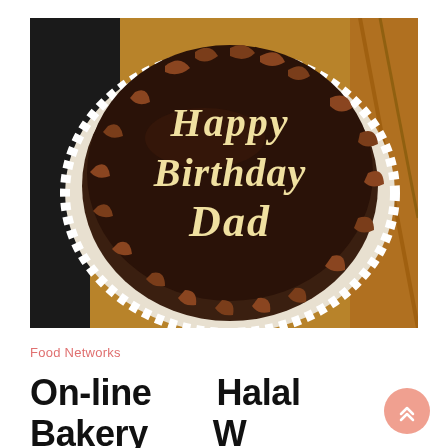[Figure (photo): A chocolate birthday cake with cream-colored cursive writing 'Happy Birthday Dad' on top, decorated with chocolate curls around the edge, sitting on a white doily on a wooden surface.]
Food Networks
On-line Halal Bakery W Supply Companies In Singapore